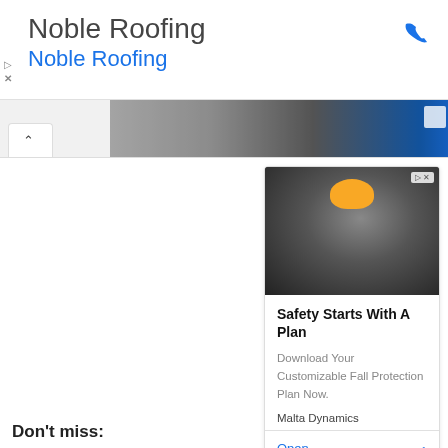Noble Roofing
Noble Roofing
[Figure (screenshot): Navigation bar with upward chevron tab and photo strip of roofing work in background]
[Figure (photo): Worker wearing yellow hard hat and face mask in industrial setting - advertisement for Malta Dynamics]
Safety Starts With A Plan
Download Your Customizable Fall Protection Plan Now.
Malta Dynamics
Open
Don't miss: